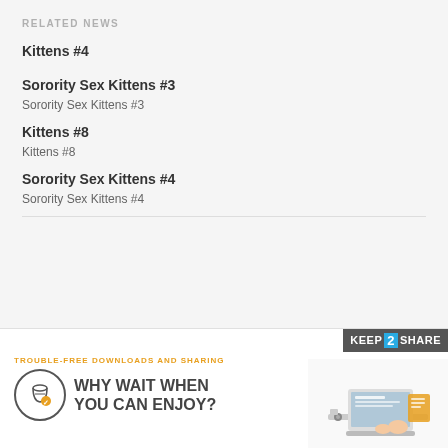RELATED NEWS
Kittens #4
Sorority Sex Kittens #3
Sorority Sex Kittens #3
Kittens #8
Kittens #8
Sorority Sex Kittens #4
Sorority Sex Kittens #4
[Figure (infographic): Keep2Share advertisement banner: 'TROUBLE-FREE DOWNLOADS AND SHARING' with hourglass icon, 'WHY WAIT WHEN YOU CAN ENJOY?' slogan, and Keep2Share logo with illustration of person at laptop.]